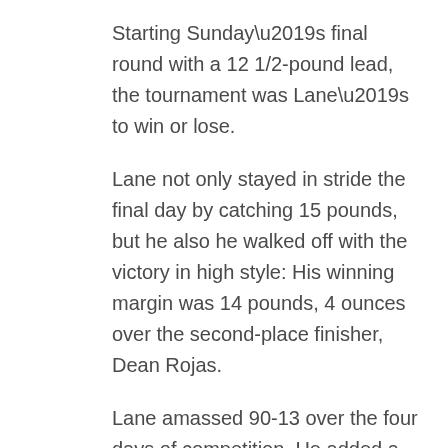Starting Sunday’s final round with a 12 1/2-pound lead, the tournament was Lane’s to win or lose.
Lane not only stayed in stride the final day by catching 15 pounds, but he also he walked off with the victory in high style: His winning margin was 14 pounds, 4 ounces over the second-place finisher, Dean Rojas.
Lane amassed 90-13 over the four days of competition. He added a sixth Bassmaster victory to his resume that includes being the 2012 Bassmaster Classic champion and a 2013 Bassmaster Elite Series winner.
A Florida native now living in Guntersville, Ala.,